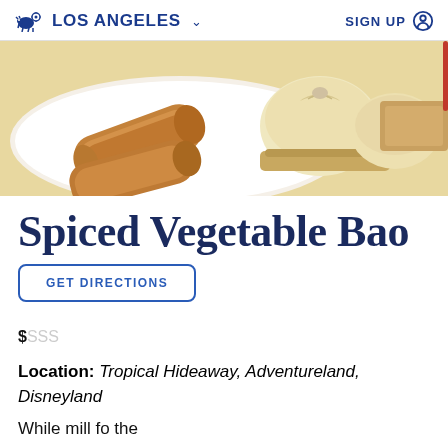LOS ANGELES  SIGN UP
[Figure (photo): Photo of Asian food items including spring rolls/egg rolls on a white plate and steamed bao dumplings in a bamboo steamer basket]
Spiced Vegetable Bao
GET DIRECTIONS
$SSS
Location: Tropical Hideaway, Adventureland, Disneyland
While mill fo the